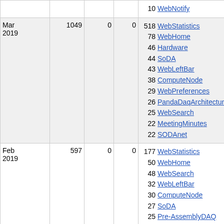| Month | Views | Col3 | Col4 | Top Pages |
| --- | --- | --- | --- | --- |
| (partial top) |  |  |  | 10 WebNotify |
| Mar 2019 | 1049 | 0 | 0 | 518 WebStatistics
78 WebHome
46 Hardware
44 SoDA
43 WebLeftBar
38 ComputeNode
29 WebPreferences
26 PandaDaqArchitecture
25 WebSearch
22 MeetingMinutes
22 SODAnet |
| Feb 2019 | 597 | 0 | 0 | 177 WebStatistics
50 WebHome
48 WebSearch
32 WebLeftBar
30 ComputeNode
27 SoDA
25 Pre-AssemblyDAQ
25 Hardware
23 SODAnet
23 |